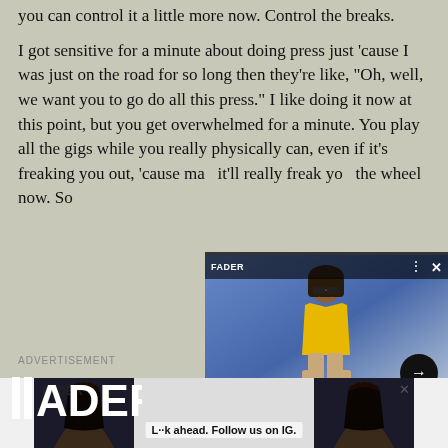you can control it a little more now. Control the breaks.
I got sensitive for a minute about doing press just 'cause I was just on the road for so long then they're like, "Oh, well, we want you to go do all this press." I like doing it now at this point, but you get overwhelmed for a minute. You play all the gigs while you really physically can, even if it's freaking you out, 'cause ma... it'll really freak yo... the wheel now. So
[Figure (screenshot): Floating video widget showing a person in yellow outfit against a blue background, with FADER logo, close button, dots menu, arrow play button, and caption 'Song You Need: Asake will be back']
Song You Need: Asake will be back
ADVERTISEMENT
[Figure (screenshot): Bottom advertisement banner with FADER logo and tagline 'L··k ahead. Follow us on IG.' with photos of women on left and right sides]